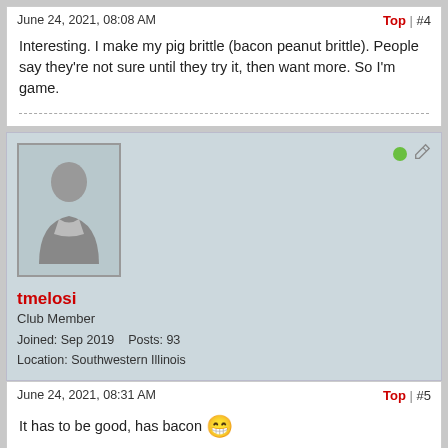June 24, 2021, 08:08 AM
Top | #4
Interesting. I make my pig brittle (bacon peanut brittle). People say they're not sure until they try it, then want more. So I'm game.
[Figure (photo): Default user avatar silhouette icon (grey person outline on light blue-grey background)]
tmelosi
Club Member
Joined: Sep 2019    Posts: 93
Location: Southwestern Illinois
June 24, 2021, 08:31 AM
Top | #5
It has to be good, has bacon 😁